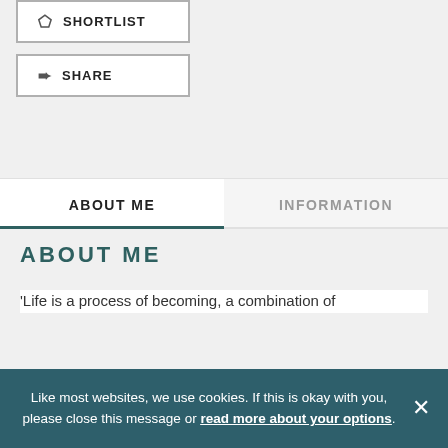SHORTLIST
SHARE
ABOUT ME
INFORMATION
ABOUT ME
'Life is a process of becoming, a combination of
Like most websites, we use cookies. If this is okay with you, please close this message or read more about your options.